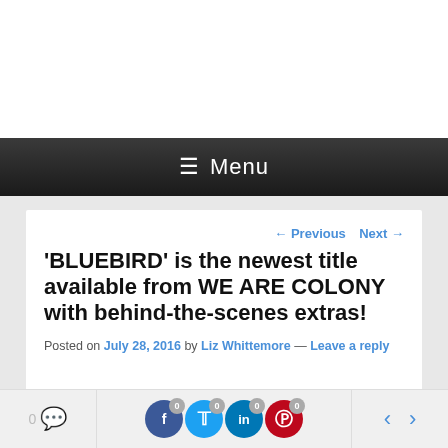≡ Menu
← Previous   Next →
'BLUEBIRD' is the newest title available from WE ARE COLONY with behind-the-scenes extras!
Posted on July 28, 2016 by Liz Whittemore — Leave a reply